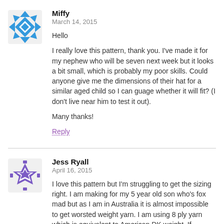[Figure (illustration): Blue geometric snowflake/diamond pattern avatar for user Miffy]
Miffy
March 14, 2015
Hello

I really love this pattern, thank you. I've made it for my nephew who will be seven next week but it looks a bit small, which is probably my poor skills. Could anyone give me the dimensions of their hat for a similar aged child so I can guage whether it will fit? (I don't live near him to test it out).

Many thanks!
Reply
[Figure (illustration): Purple geometric snowflake pattern avatar for user Jess Ryall]
Jess Ryall
April 16, 2015
I love this pattern but I'm struggling to get the sizing right. I am making for my 5 year old son who's fox mad but as I am in Australia it is almost impossible to get worsted weight yarn. I am using 8 ply yarn which is equivalent to American DK weight. If anyone has suggestions help would be greatly appreciated!